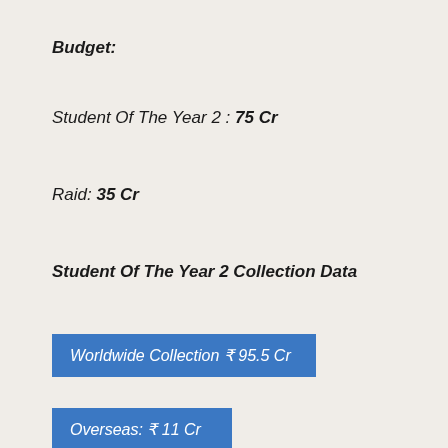Budget:
Student Of The Year 2 : 75 Cr
Raid: 35 Cr
Student Of The Year 2 Collection Data
Worldwide Collection ₹ 95.5 Cr
Overseas: ₹ 11 Cr